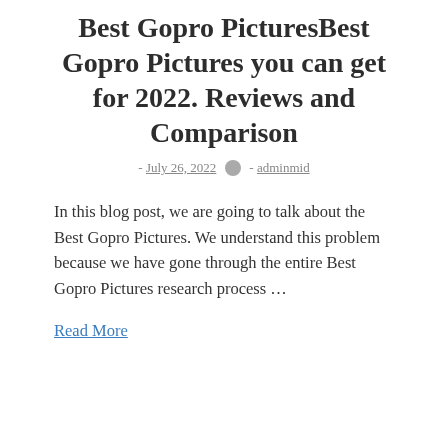Best Gopro PicturesBest Gopro Pictures you can get for 2022. Reviews and Comparison
- July 26, 2022  - adminmid
In this blog post, we are going to talk about the Best Gopro Pictures. We understand this problem because we have gone through the entire Best Gopro Pictures research process …
Read More